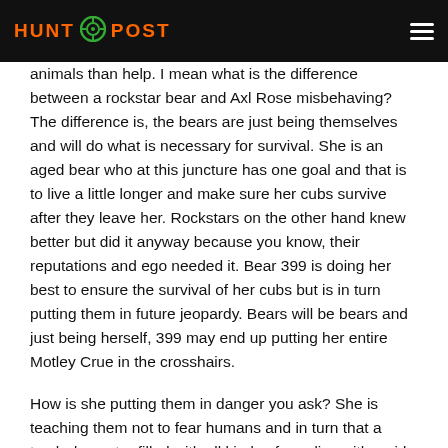HUNT POST
animals than help. I mean what is the difference between a rockstar bear and Axl Rose misbehaving? The difference is, the bears are just being themselves and will do what is necessary for survival. She is an aged bear who at this juncture has one goal and that is to live a little longer and make sure her cubs survive after they leave her. Rockstars on the other hand knew better but did it anyway because you know, their reputations and ego needed it. Bear 399 is doing her best to ensure the survival of her cubs but is in turn putting them in future jeopardy. Bears will be bears and just being herself, 399 may end up putting her entire Motley Crue in the crosshairs.
How is she putting them in danger you ask? She is teaching them not to fear humans and in turn that a trash dumpster filled with all kinds of goodies with a side of